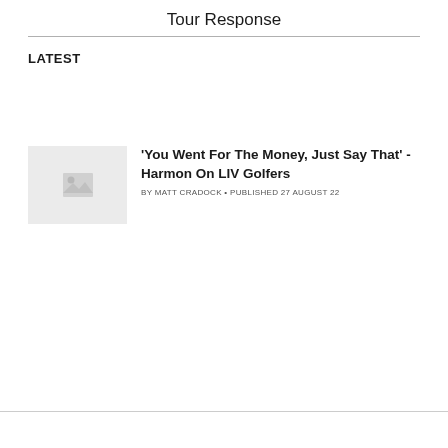Tour Response
LATEST
[Figure (photo): Placeholder thumbnail image with a mountain/image icon on a light grey background]
'You Went For The Money, Just Say That' - Harmon On LIV Golfers
BY MATT CRADOCK • PUBLISHED 27 AUGUST 22